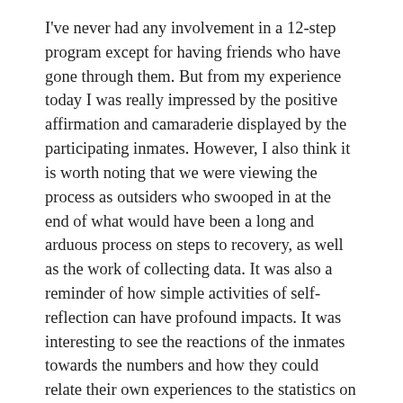I've never had any involvement in a 12-step program except for having friends who have gone through them. But from my experience today I was really impressed by the positive affirmation and camaraderie displayed by the participating inmates. However, I also think it is worth noting that we were viewing the process as outsiders who swooped in at the end of what would have been a long and arduous process on steps to recovery, as well as the work of collecting data. It was also a reminder of how simple activities of self-reflection can have profound impacts. It was interesting to see the reactions of the inmates towards the numbers and how they could relate their own experiences to the statistics on the board.
In our group the facilitator and mentor did a great job including us in the discussions and debates about the activity. The one counsellor asked us all to describe the criminal justice system's in our own country, which